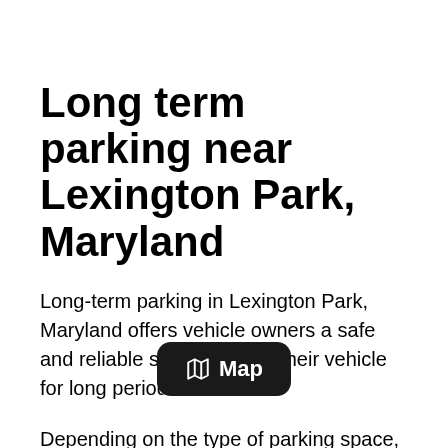Long term parking near Lexington Park, Maryland
Long-term parking in Lexington Park, Maryland offers vehicle owners a safe and reliable space to store their vehicle for long periods of time.
Depending on the type of parking space, amenities to con... de hours of access and safety protections such as gates and cameras
[Figure (other): A dark rounded rectangle button overlay with a map icon and the text 'Map']